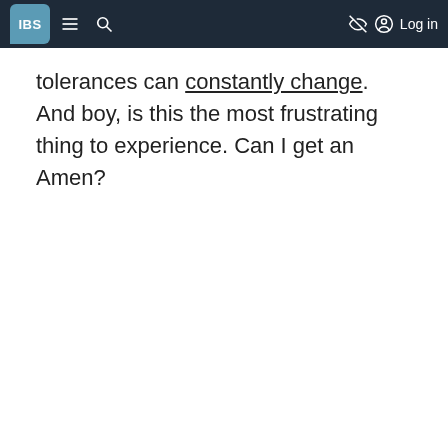IBS | Log in
tolerances can constantly change. And boy, is this the most frustrating thing to experience. Can I get an Amen?